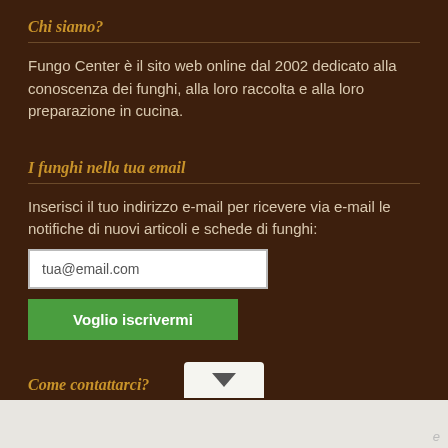Chi siamo?
Fungo Center è il sito web online dal 2002 dedicato alla conoscenza dei funghi, alla loro raccolta e alla loro preparazione in cucina.
I funghi nella tua email
Inserisci il tuo indirizzo e-mail per ricevere via e-mail le notifiche di nuovi articoli e schede di funghi:
tua@email.com
Voglio iscrivermi
Come contattarci?